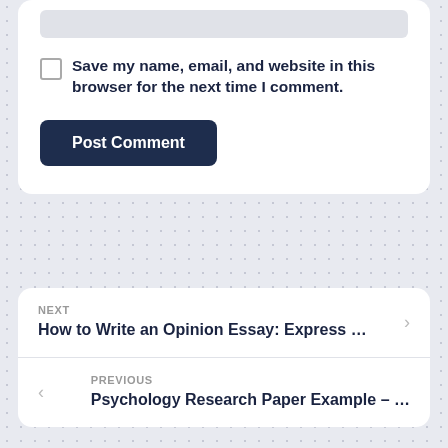Save my name, email, and website in this browser for the next time I comment.
Post Comment
NEXT
How to Write an Opinion Essay: Express …
PREVIOUS
Psychology Research Paper Example – …